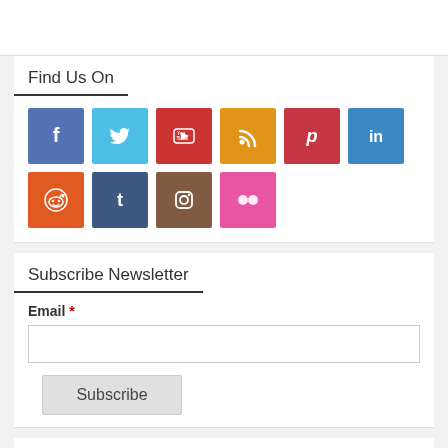Find Us On
[Figure (infographic): Social media icon buttons: Facebook (blue), Twitter (light blue), YouTube (red), RSS (orange), Pinterest (dark red), LinkedIn (blue), Reddit (orange-red), Tumblr (dark blue), Instagram (brown), Flickr (pink)]
Subscribe Newsletter
Email *
Subscribe